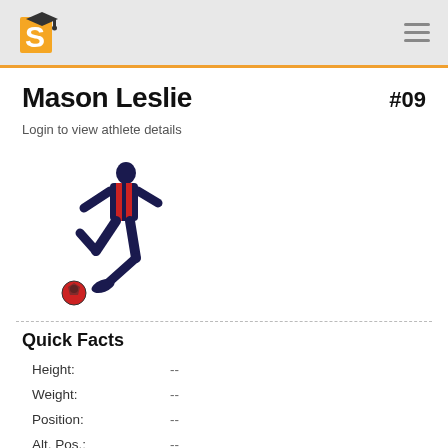S [logo] #menu
Mason Leslie
#09
Login to view athlete details
[Figure (illustration): Soccer player kicking a ball, drawn in dark navy and red stencil style]
Quick Facts
|  |  |
| --- | --- |
| Height: | -- |
| Weight: | -- |
| Position: | -- |
| Alt. Pos.: | -- |